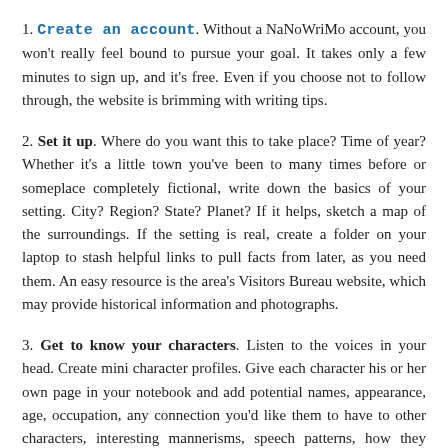1. Create an account. Without a NaNoWriMo account, you won't really feel bound to pursue your goal. It takes only a few minutes to sign up, and it's free. Even if you choose not to follow through, the website is brimming with writing tips.
2. Set it up. Where do you want this to take place? Time of year? Whether it's a little town you've been to many times before or someplace completely fictional, write down the basics of your setting. City? Region? State? Planet? If it helps, sketch a map of the surroundings. If the setting is real, create a folder on your laptop to stash helpful links to pull facts from later, as you need them. An easy resource is the area's Visitors Bureau website, which may provide historical information and photographs.
3. Get to know your characters. Listen to the voices in your head. Create mini character profiles. Give each character his or her own page in your notebook and add potential names, appearance, age, occupation, any connection you'd like them to have to other characters, interesting mannerisms, speech patterns, how they dress, etc. This is tons of fun and can be added to before, during and after